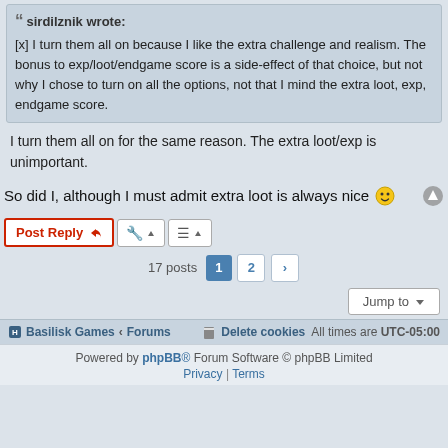sirdilznik wrote: [x] I turn them all on because I like the extra challenge and realism. The bonus to exp/loot/endgame score is a side-effect of that choice, but not why I chose to turn on all the options, not that I mind the extra loot, exp, endgame score.
I turn them all on for the same reason. The extra loot/exp is unimportant.
So did I, although I must admit extra loot is always nice 😁
Post Reply
17 posts  1  2  >
Jump to
Basilisk Games · Forums   Delete cookies   All times are UTC-05:00
Powered by phpBB® Forum Software © phpBB Limited  Privacy | Terms